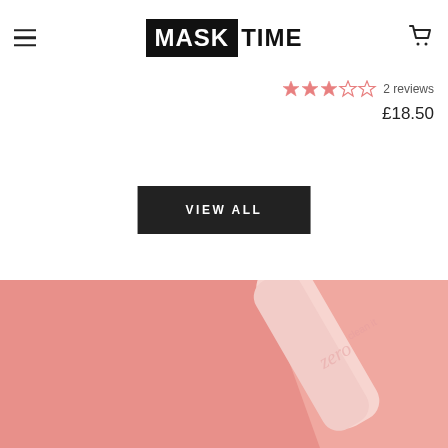[Figure (logo): MASKTIME logo - MASK in white text on black background, TIME in black text]
2 reviews
£18.50
VIEW ALL
[Figure (photo): Pink background with Clean It Zero product tube, partial view at bottom of page]